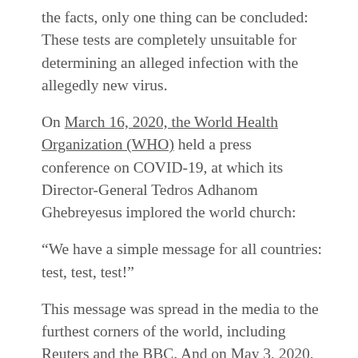the facts, only one thing can be concluded: These tests are completely unsuitable for determining an alleged infection with the allegedly new virus.
On March 16, 2020, the World Health Organization (WHO) held a press conference on COVID-19, at which its Director-General Tedros Adhanom Ghebreyesus implored the world church:
“We have a simple message for all countries: test, test, test!”
This message was spread in the media to the furthest corners of the world, including Reuters and the BBC. And on May 3, 2020, the presenter of German second TV channel ZDF’s ‘heute journal’ passed on the mantra of the Corona dogma to his audience with admonishing words: